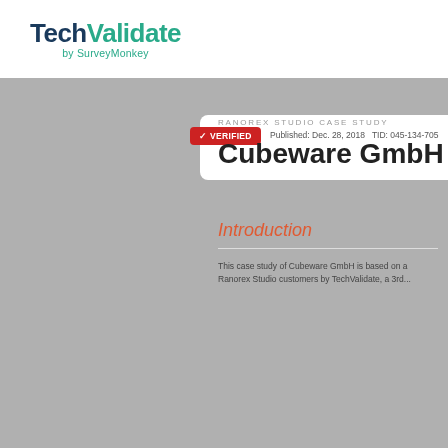TechValidate by SurveyMonkey
[Figure (screenshot): Partially visible TechValidate case study card showing a red Verified badge, Published: Dec. 28, 2018, TID: 045-134-705]
RANOREX STUDIO CASE STUDY
Cubeware GmbH
Introduction
This case study of Cubeware GmbH is based on a survey of Ranorex Studio customers by TechValidate, a 3rd...